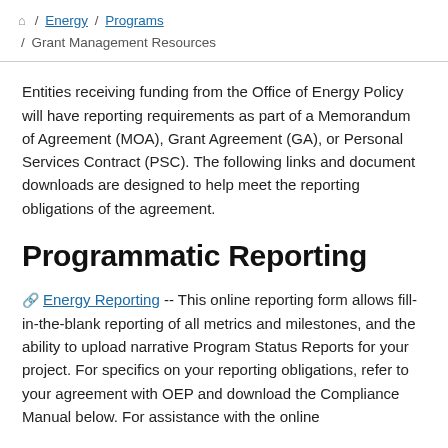🏠 / Energy / Programs / Grant Management Resources
Entities receiving funding from the Office of Energy Policy will have reporting requirements as part of a Memorandum of Agreement (MOA), Grant Agreement (GA), or Personal Services Contract (PSC). The following links and document downloads are designed to help meet the reporting obligations of the agreement.
Programmatic Reporting
Energy Reporting -- This online reporting form allows fill-in-the-blank reporting of all metrics and milestones, and the ability to upload narrative Program Status Reports for your project. For specifics on your reporting obligations, refer to your agreement with OEP and download the Compliance Manual below. For assistance with the online